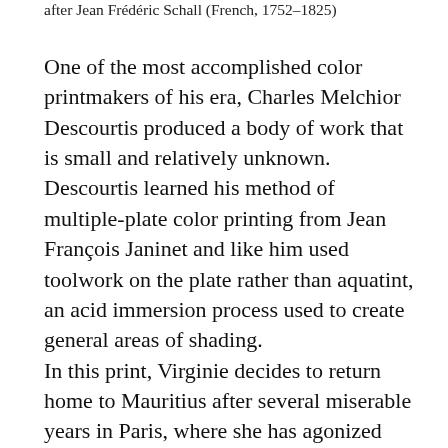after Jean Frédéric Schall (French, 1752–1825)
One of the most accomplished color printmakers of his era, Charles Melchior Descourtis produced a body of work that is small and relatively unknown. Descourtis learned his method of multiple-plate color printing from Jean François Janinet and like him used toolwork on the plate rather than aquatint, an acid immersion process used to create general areas of shading. In this print, Virginie decides to return home to Mauritius after several miserable years in Paris, where she has agonized over her separation from Paul. However, a typhoon strikes her ship within sight of the island. In line with 18th-century French ideals of virtue in women, she refuses to remove her clothing and swim to safety in front of the sailors, and so she drowns in the shipwreck. Her body is eventually found amid debris washed up on the shore, and Domingue